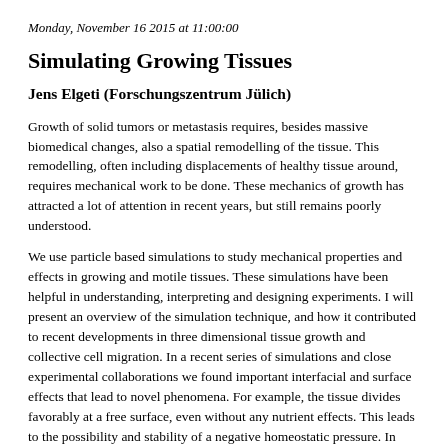Monday, November 16 2015 at 11:00:00
Simulating Growing Tissues
Jens Elgeti (Forschungszentrum Jülich)
Growth of solid tumors or metastasis requires, besides massive biomedical changes, also a spatial remodelling of the tissue. This remodelling, often including displacements of healthy tissue around, requires mechanical work to be done. These mechanics of growth has attracted a lot of attention in recent years, but still remains poorly understood.
We use particle based simulations to study mechanical properties and effects in growing and motile tissues. These simulations have been helpful in understanding, interpreting and designing experiments. I will present an overview of the simulation technique, and how it contributed to recent developments in three dimensional tissue growth and collective cell migration. In a recent series of simulations and close experimental collaborations we found important interfacial and surface effects that lead to novel phenomena. For example, the tissue divides favorably at a free surface, even without any nutrient effects. This leads to the possibility and stability of a negative homeostatic pressure. In turn,